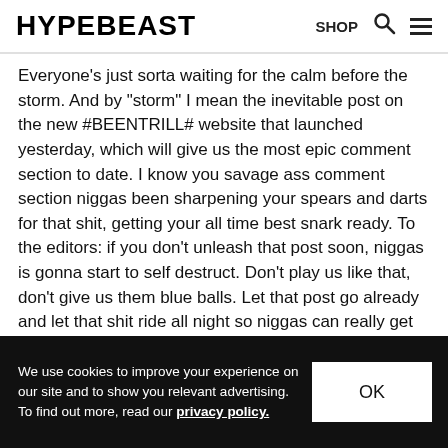HYPEBEAST  SHOP
Everyone's just sorta waiting for the calm before the storm. And by "storm" I mean the inevitable post on the new #BEENTRILL# website that launched yesterday, which will give us the most epic comment section to date. I know you savage ass comment section niggas been sharpening your spears and darts for that shit, getting your all time best snark ready. To the editors: if you don't unleash that post soon, niggas is gonna start to self destruct. Don't play us like that, don't give us them blue balls. Let that post go already and let that shit ride all night so niggas can really get them shots in.
5 ▲ | ▼ 4  Reply
now2012 ➤ Blanchard DeVereaux
9 years ago
We use cookies to improve your experience on our site and to show you relevant advertising. To find out more, read our privacy policy.